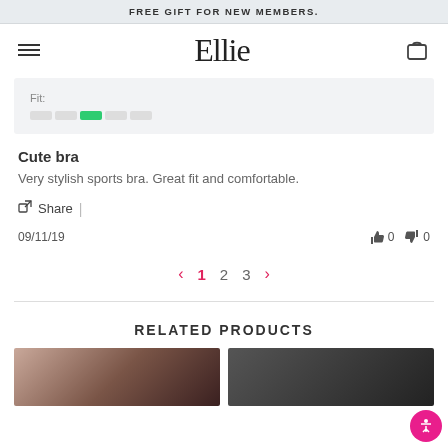FREE GIFT FOR NEW MEMBERS.
[Figure (logo): Ellie brand logo in cursive script with hamburger menu and cart icon]
[Figure (infographic): Fit rating bar showing 5 segments, third segment highlighted in green]
Cute bra
Very stylish sports bra. Great fit and comfortable.
Share |
09/11/19   👍 0   👎 0
< 1 2 3 >
RELATED PRODUCTS
[Figure (photo): Two product thumbnail photos at the bottom of the page]